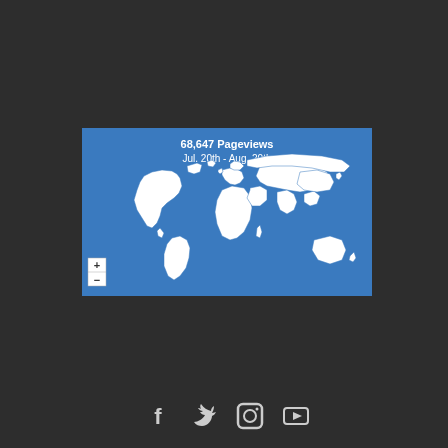[Figure (map): World map showing pageviews geography with blue background and white country outlines. Title shows '68,647 Pageviews Jul. 20th - Aug. 20th'. Zoom controls (+/-) in bottom left corner.]
Social media icons: Facebook, Twitter, Instagram, YouTube